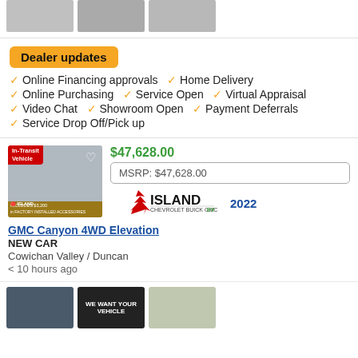[Figure (photo): Three car thumbnail images at top]
Dealer updates
Online Financing approvals
Home Delivery
Online Purchasing
Service Open
Virtual Appraisal
Video Chat
Showroom Open
Payment Deferrals
Service Drop Off/Pick up
$47,628.00
MSRP: $47,628.00
[Figure (logo): Island Chevrolet Buick GMC EV logo]
2022
GMC Canyon 4WD Elevation
NEW CAR
Cowichan Valley / Duncan
< 10 hours ago
[Figure (photo): Three car thumbnail images at bottom]